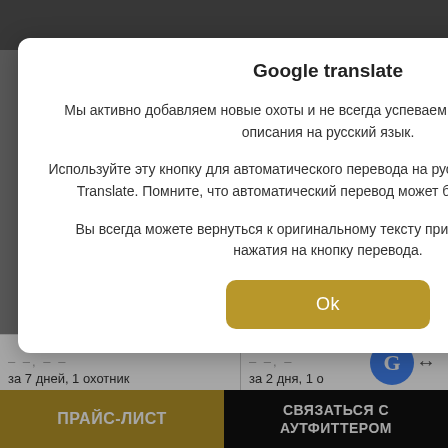Google translate
Мы активно добавляем новые охоты и не всегда успеваем полностью перевести описания на русский язык.
Используйте эту кнопку для автоматического перевода на русский с помощью Google Translate. Помните, что автоматический перевод может быть не очень точен.
Вы всегда можете вернуться к оригинальному тексту при помощи повторного нажатия на кнопку перевода.
Ok
за 7 дней, 1 охотник
за 2 дня, 1 о...
ПРАЙС-ЛИСТ
СВЯЗАТЬСЯ С АУТФИТТЕРОМ